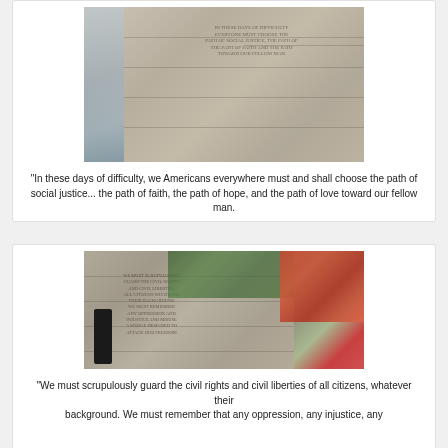[Figure (photo): Photo of FDR Memorial granite wall with waterfall and carved inscription, Washington DC]
"In these days of difficulty, we Americans everywhere must and shall choose the path of social justice... the path of faith, the path of hope, and the path of love toward our fellow man.
[Figure (photo): Photo of FDR Memorial granite wall with carved inscription, person standing in foreground, red autumn trees in background]
"We must scrupulously guard the civil rights and civil liberties of all citizens, whatever their background. We must remember that any oppression, any injustice, any